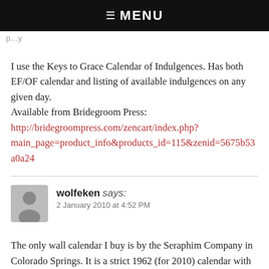☰ MENU
(partial link text cut off)
I use the Keys to Grace Calendar of Indulgences. Has both EF/OF calendar and listing of available indulgences on any given day.
Available from Bridegroom Press:
http://bridegroompress.com/zencart/index.php?main_page=product_info&products_id=115&zenid=5675b53a0a24
wolfeken says:
2 January 2010 at 4:52 PM
The only wall calendar I buy is by the Seraphim Company in Colorado Springs. It is a strict 1962 (for 2010) calendar with the disciplines in place that year — which makes sense to me.
Sadly, I threw away the Fraternity of Saint Peter and Institute...